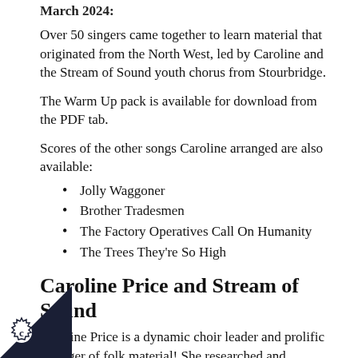March 2024:
Over 50 singers came together to learn material that originated from the North West, led by Caroline and the Stream of Sound youth chorus from Stourbridge.
The Warm Up pack is available for download from the PDF tab.
Scores of the other songs Caroline arranged are also available:
Jolly Waggoner
Brother Tradesmen
The Factory Operatives Call On Humanity
The Trees They're So High
Caroline Price and Stream of Sound
Caroline Price is a dynamic choir leader and prolific arranger of folk material! She researched and arranged a variety of songs